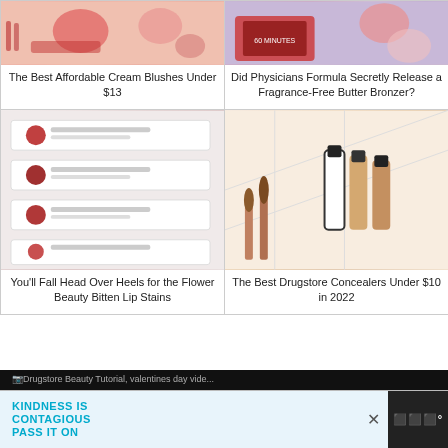[Figure (photo): Cream blush products arranged on white background with pink/red tones]
The Best Affordable Cream Blushes Under $13
[Figure (photo): Physicians Formula products with cassette tape and blush palette in purple/red tones]
Did Physicians Formula Secretly Release a Fragrance-Free Butter Bronzer?
[Figure (photo): Flower Beauty Bitten Lip Stains product boxes arranged in a row]
You'll Fall Head Over Heels for the Flower Beauty Bitten Lip Stains
[Figure (photo): Makeup brushes and concealer bottles on pink and geometric patterned background]
The Best Drugstore Concealers Under $10 in 2022
Drugstore Beauty Tutorial, valentines day vide...
KINDNESS IS CONTAGIOUS PASS IT ON